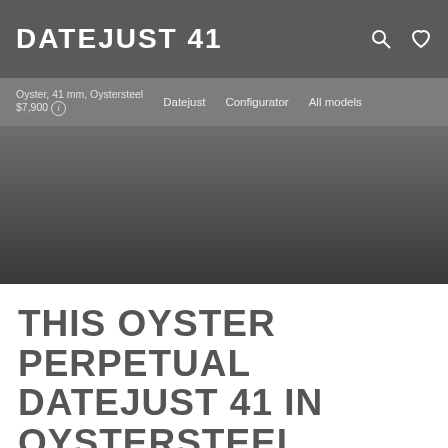DATEJUST 41
Oyster, 41 mm, Oystersteel
$7,900
Datejust   Configurator   All models
[Figure (photo): Dark gradient background area showing product hero image region for Rolex Datejust 41 watch]
THIS OYSTER PERPETUAL DATEJUST 41 IN OYSTERSTEEL FEATURES A BRIGHT BLUE DIAL AND AN OYSTER...